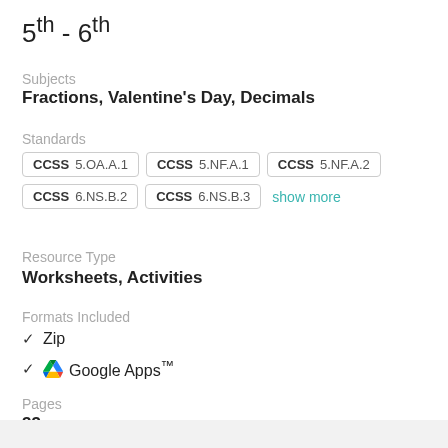5th - 6th
Subjects
Fractions, Valentine's Day, Decimals
Standards
CCSS 5.OA.A.1 | CCSS 5.NF.A.1 | CCSS 5.NF.A.2 | CCSS 6.NS.B.2 | CCSS 6.NS.B.3 | show more
Resource Type
Worksheets, Activities
Formats Included
Zip
Google Apps™
Pages
33 pages